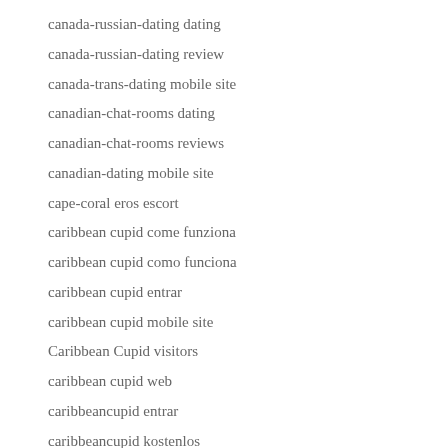canada-russian-dating dating
canada-russian-dating review
canada-trans-dating mobile site
canadian-chat-rooms dating
canadian-chat-rooms reviews
canadian-dating mobile site
cape-coral eros escort
caribbean cupid come funziona
caribbean cupid como funciona
caribbean cupid entrar
caribbean cupid mobile site
Caribbean Cupid visitors
caribbean cupid web
caribbeancupid entrar
caribbeancupid kostenlos